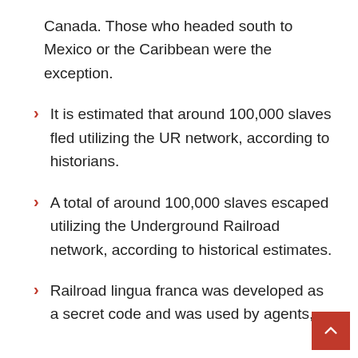Canada. Those who headed south to Mexico or the Caribbean were the exception.
It is estimated that around 100,000 slaves fled utilizing the UR network, according to historians.
A total of around 100,000 slaves escaped utilizing the Underground Railroad network, according to historical estimates.
Railroad lingua franca was developed as a secret code and was used by agents,